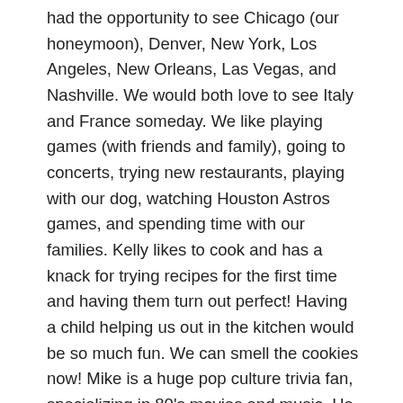had the opportunity to see Chicago (our honeymoon), Denver, New York, Los Angeles, New Orleans, Las Vegas, and Nashville. We would both love to see Italy and France someday. We like playing games (with friends and family), going to concerts, trying new restaurants, playing with our dog, watching Houston Astros games, and spending time with our families. Kelly likes to cook and has a knack for trying recipes for the first time and having them turn out perfect! Having a child helping us out in the kitchen would be so much fun. We can smell the cookies now! Mike is a huge pop culture trivia fan, specializing in 80's movies and music. He likes following sports, playing poker, and doing various types of word puzzles. He thinks that it would be fun to learn to play an instrument at the same time as his child learns it and to have that common.